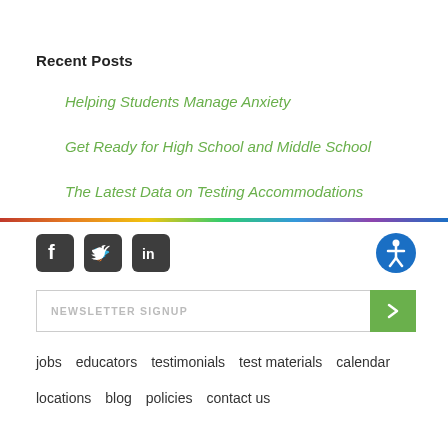Recent Posts
Helping Students Manage Anxiety
Get Ready for High School and Middle School
The Latest Data on Testing Accommodations
[Figure (infographic): Rainbow horizontal divider bar]
[Figure (infographic): Social media icons: Facebook, Twitter, LinkedIn dark rounded squares; accessibility circle icon blue]
NEWSLETTER SIGNUP
jobs   educators   testimonials   test materials   calendar
locations   blog   policies   contact us